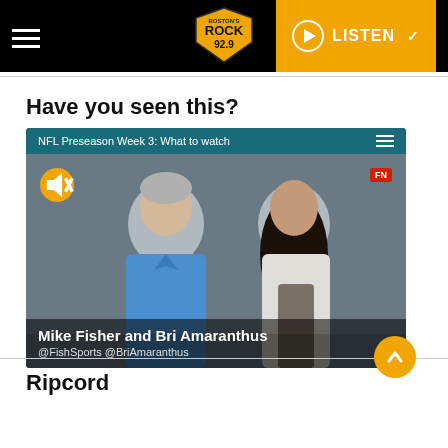Rock 92.9 — LISTEN
Have you seen this?
[Figure (screenshot): Video embed: NFL Preseason Week 3: What to watch — showing Mike Fisher in blue polo and Bri Amaranthus, with mute icon, FN badge, and overlay text 'Mike Fisher and Bri Amaranthus @FishSports @BriAmaranthus']
Ripcord